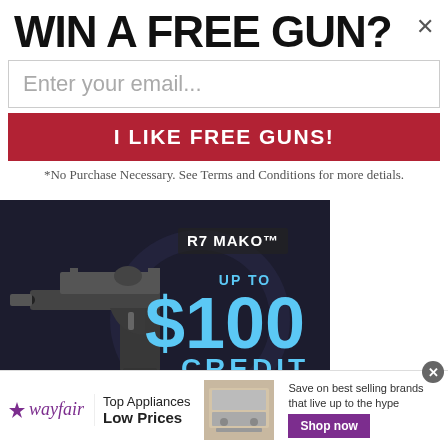WIN A FREE GUN?×
Enter your email...
I LIKE FREE GUNS!
*No Purchase Necessary. See Terms and Conditions for more detials.
[Figure (photo): Advertisement for R7 MAKO handgun showing a pistol on the left and text 'UP TO $100 CREDIT WITH PURCHASE' on the right in blue/cyan text on dark background]
[Figure (infographic): Wayfair advertisement banner with logo, 'Top Appliances Low Prices' tagline, image of a range/oven, 'Save on best selling brands that live up to the hype', and 'Shop now' purple button]